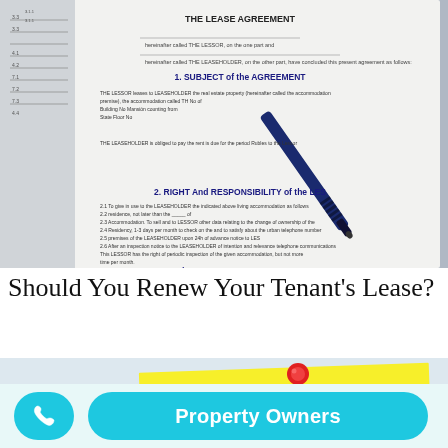[Figure (photo): Photo of a lease agreement document with printed text including 'THE LEASE AGREEMENT', '1. SUBJECT of the AGREEMENT', '2. RIGHT And RESPONSIBILITY of the LESSOR', and a dark blue ballpoint pen resting on top of the document.]
Should You Renew Your Tenant's Lease?
[Figure (photo): Yellow sticky note pinned with a red pushpin on a light blue/white background, partially visible at the bottom of the page.]
Property Owners